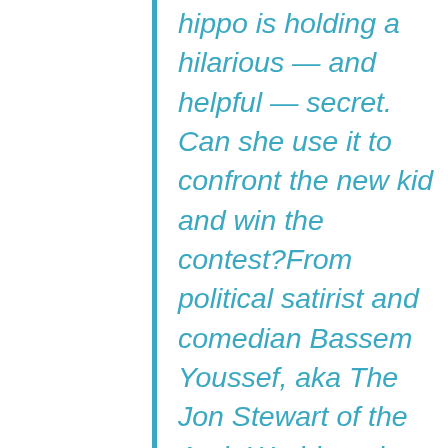hippo is holding a hilarious — and helpful — secret. Can she use it to confront the new kid and win the contest?From political satirist and comedian Bassem Youssef, aka The Jon Stewart of the Arab World, and author Catherine R. Daly comes a humorous and heartfelt story about prejudice, friendship, empathy, and courage. Includes sections of